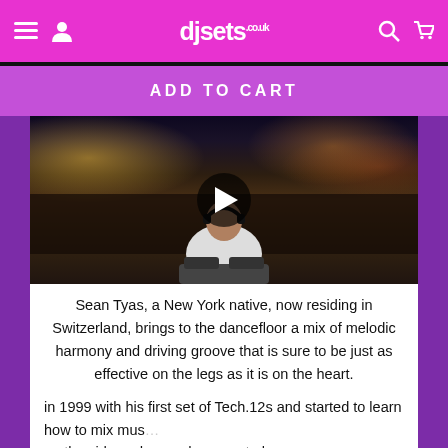djsets.co.uk — navigation bar with menu, user, search, cart icons
ADD TO CART
[Figure (screenshot): Video thumbnail showing a DJ performing on stage at a large outdoor festival with a crowd in the background. A play button (triangle inside dark circle) is centered on the image.]
Sean Tyas, a New York native, now residing in Switzerland, brings to the dancefloor a mix of melodic harmony and driving groove that is sure to be just as effective on the legs as it is on the heart.
in 1999 with his first set of Tech.12s and started to learn how to mix mus... on the side and a good excuse to bu...